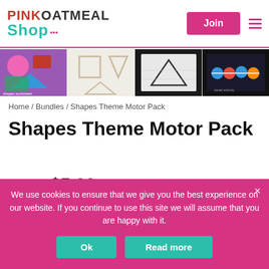PINK OATMEAL Shop — Join
[Figure (screenshot): Product image thumbnails strip showing shapes theme educational materials]
Home / Bundles / Shapes Theme Motor Pack
Shapes Theme Motor Pack
$8.00  $5.99
Earn 6 Points for a discount
We use cookies to ensure that we give you the best experience on our website. If you continue to use this site we will assume that you are happy with it.
Ok   Read more